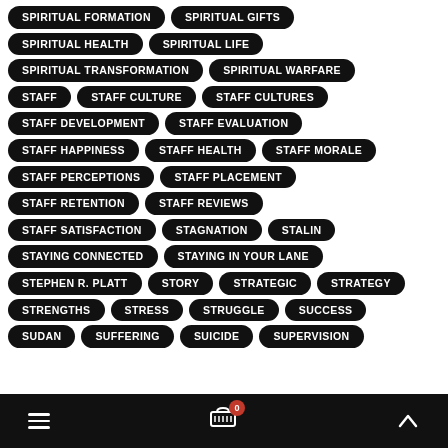SPIRITUAL FORMATION
SPIRITUAL GIFTS
SPIRITUAL HEALTH
SPIRITUAL LIFE
SPIRITUAL TRANSFORMATION
SPIRITUAL WARFARE
STAFF
STAFF CULTURE
STAFF CULTURES
STAFF DEVELOPMENT
STAFF EVALUATION
STAFF HAPPINESS
STAFF HEALTH
STAFF MORALE
STAFF PERCEPTIONS
STAFF PLACEMENT
STAFF RETENTION
STAFF REVIEWS
STAFF SATISFACTION
STAGNATION
STALIN
STAYING CONNECTED
STAYING IN YOUR LANE
STEPHEN R. PLATT
STORY
STRATEGIC
STRATEGY
STRENGTHS
STRESS
STRUGGLE
SUCCESS
SUDAN
SUFFERING
SUICIDE
SUPERVISION
Navigation bar with hamburger menu, cart (0), and scroll-to-top button